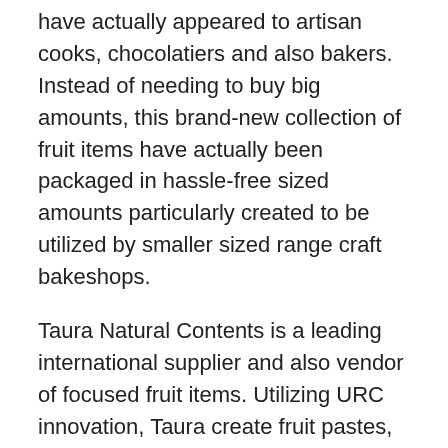have actually appeared to artisan cooks, chocolatiers and also bakers. Instead of needing to buy big amounts, this brand-new collection of fruit items have actually been packaged in hassle-free sized amounts particularly created to be utilized by smaller sized range craft bakeshops.
Taura Natural Contents is a leading international supplier and also vendor of focused fruit items. Utilizing URC innovation, Taura create fruit pastes, flakes as well as items.
Your pals and also family members might assume your confections are impressive, yet to be effective, there are much more points you'll require to recognize besides just how to develop terrific sampling items. Beginning an organization is challenging, and also a bakeshop is no exemption.
Take an excellent take a look at your funds. Great credit